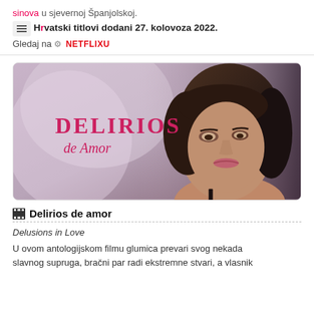sinova u sjevernoj Španjolskoj.
Hrvatski titlovi dodani 27. kolovoza 2022.
Gledaj na NETFLIXU
[Figure (photo): Movie poster/thumbnail for 'Delirios de Amor' showing a woman's face with the movie title text overlay in pink/magenta lettering.]
Delirios de amor
Delusions in Love
U ovom antologijskom filmu glumica prevari svog nekada slavnog supruga, bračni par radi ekstremne stvari, a vlasnik